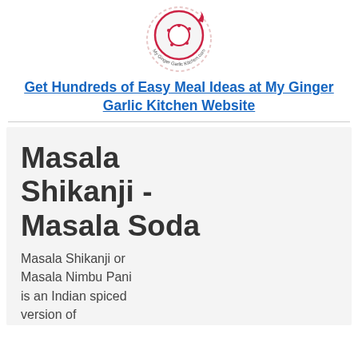[Figure (logo): My Ginger Garlic Kitchen logo — a donut-shaped icon with the text 'My Ginger Garlic Kitchen.com' around it in red and dark red]
Get Hundreds of Easy Meal Ideas at My Ginger Garlic Kitchen Website
Masala Shikanji - Masala Soda
Masala Shikanji or Masala Nimbu Pani is an Indian spiced version of lemonade. This